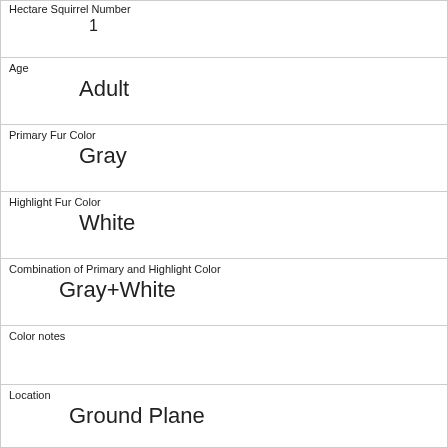| Hectare Squirrel Number | 1 |
| Age | Adult |
| Primary Fur Color | Gray |
| Highlight Fur Color | White |
| Combination of Primary and Highlight Color | Gray+White |
| Color notes |  |
| Location | Ground Plane |
| Above Ground Sighter Measurement | FALSE |
| Specific Location |  |
| Running | 1 |
| Chasing |  |